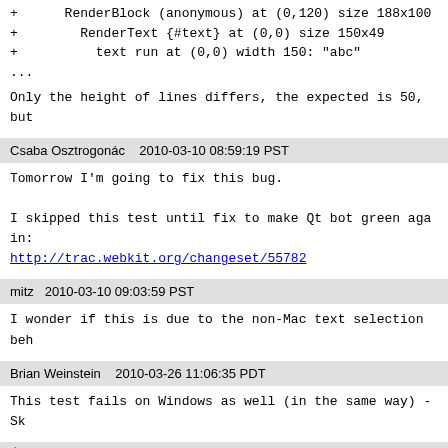+      RenderBlock (anonymous) at (0,120) size 188x100
+        RenderText {#text} at (0,0) size 150x49
+          text run at (0,0) width 150: "abc"
...
Only the height of lines differs, the expected is 50, but
Csaba Osztrogonác    2010-03-10 08:59:19 PST
Tomorrow I'm going to fix this bug.

I skipped this test until fix to make Qt bot green again:
http://trac.webkit.org/changeset/55782
mitz    2010-03-10 09:03:59 PST
I wonder if this is due to the non-Mac text selection beh
Brian Weinstein    2010-03-26 11:06:35 PDT
This test fails on Windows as well (in the same way) - Sk
Ádám Kallai    2012-10-11 05:33:55 PDT
Is Anybody working this bug? Now This test is working on
Qt WK1.